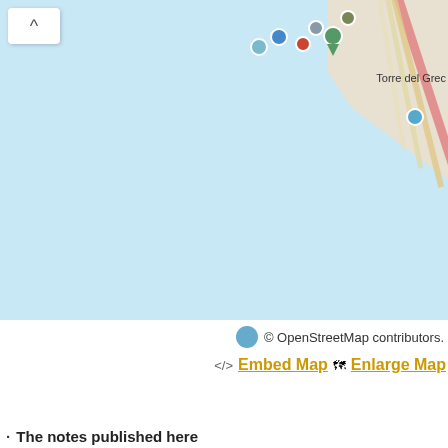[Figure (map): OpenStreetMap showing a coastal area near Torre del Greco. The map shows blue sea/water dominating most of the view, with a land area in the upper right corner showing roads and the label 'Torre del Grec'. Several colored map pins/markers are visible near the coastline in the upper portion of the map. A collapse/hide button (^) is in the upper left.]
© OpenStreetMap contributors.
<> Embed Map  Enlarge Map
· The notes published here